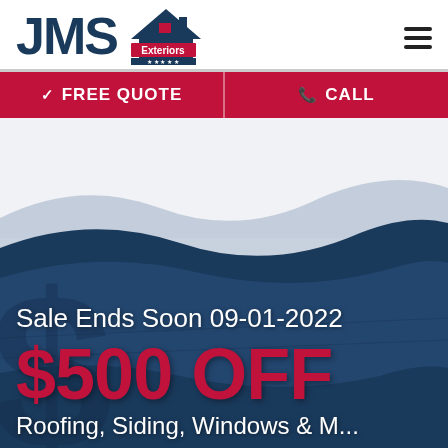[Figure (logo): JMS Exteriors logo with house icon and five stars, dark navy text]
FREE QUOTE
CALL
[Figure (illustration): Hero background with dark navy blue wave/roof shapes over white, rooftop texture visible]
Sale Ends Soon 09-01-2022
$500 OFF
Roofing, Siding, Windows & M...